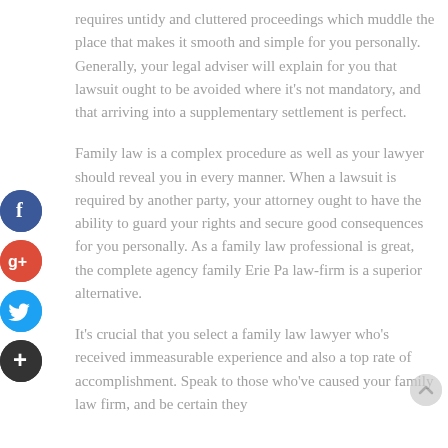requires untidy and cluttered proceedings which muddle the place that makes it smooth and simple for you personally. Generally, your legal adviser will explain for you that lawsuit ought to be avoided where it's not mandatory, and that arriving into a supplementary settlement is perfect.
Family law is a complex procedure as well as your lawyer should reveal you in every manner. When a lawsuit is required by another party, your attorney ought to have the ability to guard your rights and secure good consequences for you personally. As a family law professional is great, the complete agency family Erie Pa law-firm is a superior alternative.
It's crucial that you select a family law lawyer who's received immeasurable experience and also a top rate of accomplishment. Speak to those who've caused your family law firm, and be certain they